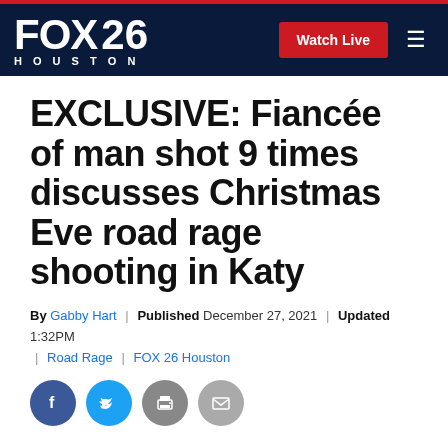FOX 26 HOUSTON | Watch Live
EXCLUSIVE: Fiancée of man shot 9 times discusses Christmas Eve road rage shooting in Katy
By Gabby Hart | Published December 27, 2021 | Updated 1:32PM | Road Rage | FOX 26 Houston
[Figure (other): Social sharing icons: Facebook, Twitter, Print, Email]